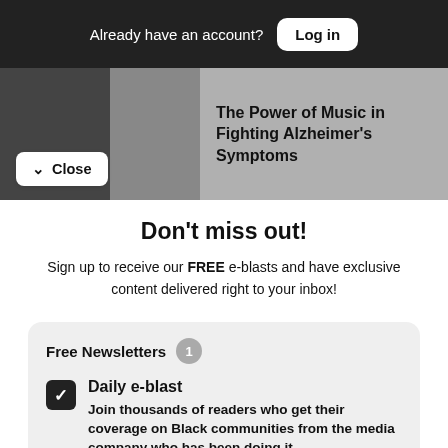Already have an account? Log in
The Power of Music in Fighting Alzheimer's Symptoms
Close
Don't miss out!
Sign up to receive our FREE e-blasts and have exclusive content delivered right to your inbox!
Free Newsletters 1
Daily e-blast
Join thousands of readers who get their coverage on Black communities from the media company who has been doing it